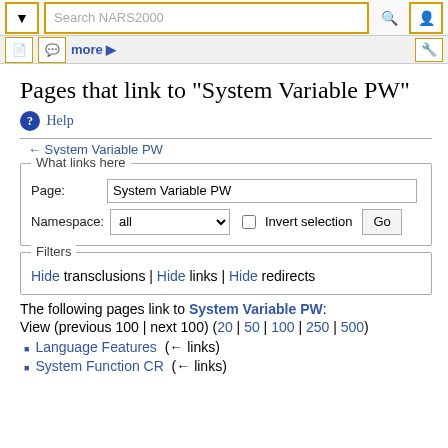Search NARS2000
Pages that link to "System Variable PW"
← System Variable PW
What links here
Page: System Variable PW
Namespace: all  Invert selection  Go
Filters
Hide transclusions | Hide links | Hide redirects
The following pages link to System Variable PW:
View (previous 100 | next 100) (20 | 50 | 100 | 250 | 500)
Language Features  (← links)
System Function CR  (← links)